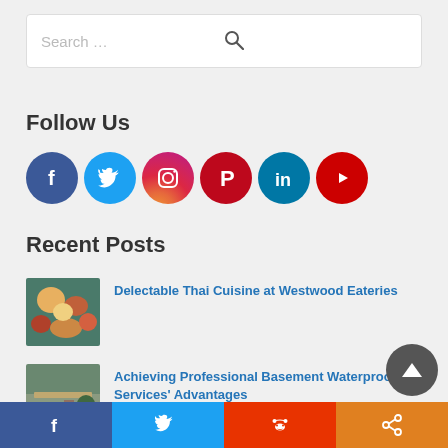Search …
Follow Us
[Figure (infographic): Row of six social media icons: Facebook (dark blue), Twitter (light blue), Instagram (gradient), Pinterest (red), LinkedIn (teal), YouTube (red/white)]
Recent Posts
[Figure (photo): Overhead photo of Thai food dishes on a teal table]
Delectable Thai Cuisine at Westwood Eateries
[Figure (photo): Photo of workers on a rooftop/deck doing waterproofing work]
Achieving Professional Basement Waterproofing Services' Advantages
[Figure (infographic): Bottom sharing bar with Facebook, Twitter, Reddit, and share icons]